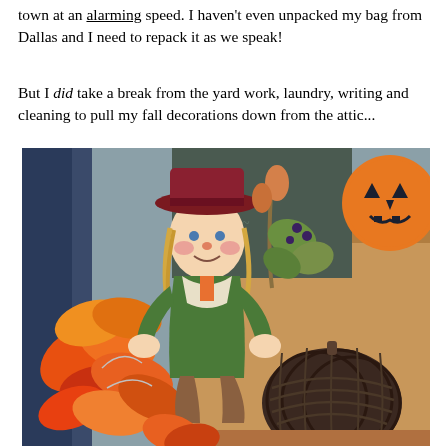town at an alarming speed. I haven't even unpacked my bag from Dallas and I need to repack it as we speak!
But I did take a break from the yard work, laundry, writing and cleaning to pull my fall decorations down from the attic...
[Figure (photo): Fall decorations including a scarecrow doll with a burgundy hat and green outfit, artificial autumn leaves in orange and red, a dark woven pumpkin decoration, and a jack-o-lantern sign in the background, all arranged in a cardboard box.]